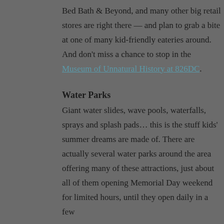Bed Bath & Beyond, and many other big retail stores are right there — and plan to grab a bite at one of many kid-friendly eateries around. And don't miss a chance to stop in the Museum of Unnatural History at 826DC.
Water Parks
Giant water slides, wave pools, waterfalls, sprays and splash pads… this is the stuff kids' summer dreams are made of. There are actually several water parks around the area offering many of these attractions, just about all of them opening Memorial Day weekend for limited hours, until they open daily in a few